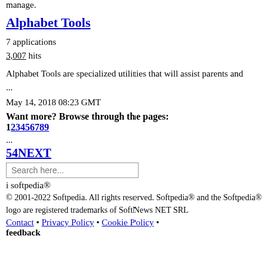manage.
Alphabet Tools
7 applications
3,007 hits
Alphabet Tools are specialized utilities that will assist parents and ...
May 14, 2018 08:23 GMT
Want more? Browse through the pages:
123456789
...
54NEXT
Search here...
i softpedia®
© 2001-2022 Softpedia. All rights reserved. Softpedia® and the Softpedia® logo are registered trademarks of SoftNews NET SRL
Contact • Privacy Policy • Cookie Policy • feedback